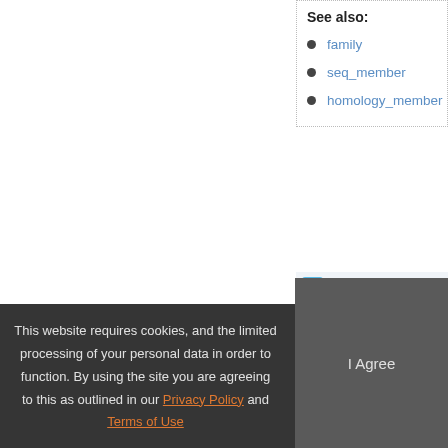See also:
family
seq_member
homology_member
Profile HMMs
The profile HMMs and their hits
[Figure (screenshot): Profile HMMs diagram box partially visible]
This website requires cookies, and the limited processing of your personal data in order to function. By using the site you are agreeing to this as outlined in our Privacy Policy and Terms of Use